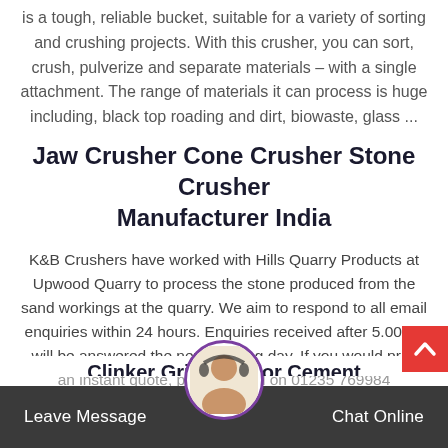is a tough, reliable bucket, suitable for a variety of sorting and crushing projects. With this crusher, you can sort, crush, pulverize and separate materials – with a single attachment. The range of materials it can process is huge including, black top roading and dirt, biowaste, glass ...
Jaw Crusher Cone Crusher Stone Crusher Manufacturer India
K&B Crushers have worked with Hills Quarry Products at Upwood Quarry to process the stone produced from the sand workings at the quarry. We aim to respond to all email enquiries within 24 hours. Enquiries received after 5.00pm will be answered the next working day. If you would pr... an instant quote, please... call on 01235 769984
Clinker Grinding For Cement
Leave Message   Chat Online